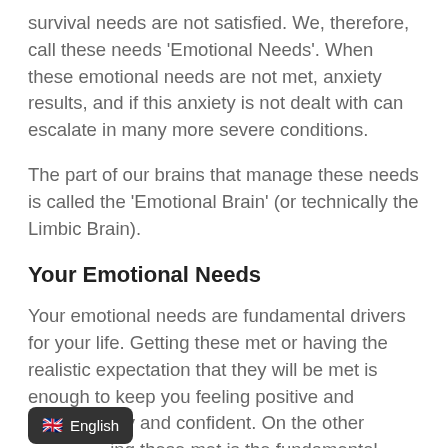survival needs are not satisfied. We, therefore, call these needs 'Emotional Needs'. When these emotional needs are not met, anxiety results, and if this anxiety is not dealt with can escalate in many more severe conditions.
The part of our brains that manage these needs is called the 'Emotional Brain' (or technically the Limbic Brain).
Your Emotional Needs
Your emotional needs are fundamental drivers for your life. Getting these met or having the realistic expectation that they will be met is enough to keep you feeling positive and happy and confident. On the other hand, not having these met is the fundamental